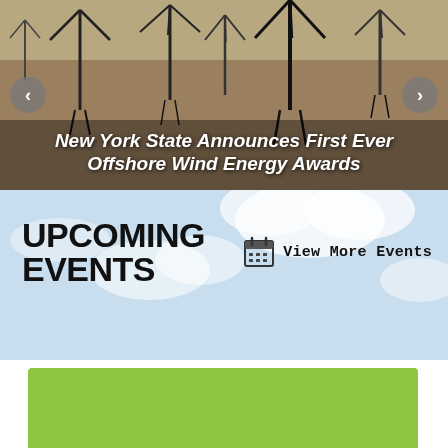[Figure (photo): Aerial photo of offshore wind turbines on sandy/gravelly ground with carousel navigation arrows on left and right]
New York State Announces First Ever Offshore Wind Energy Awards
UPCOMING EVENTS
View More Events
[Figure (photo): Light blue sky with clouds background, with a green rectangular panel partially visible at the bottom]